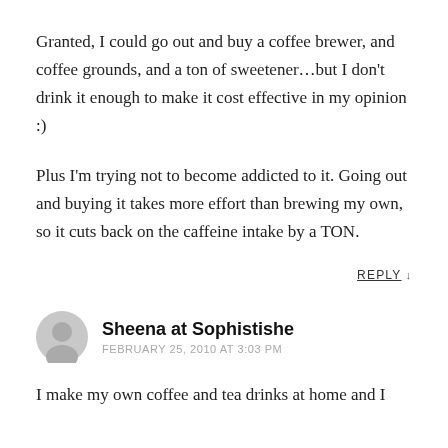Granted, I could go out and buy a coffee brewer, and coffee grounds, and a ton of sweetener…but I don't drink it enough to make it cost effective in my opinion :)
Plus I'm trying not to become addicted to it. Going out and buying it takes more effort than brewing my own, so it cuts back on the caffeine intake by a TON.
REPLY ↓
Sheena at Sophistishe
FEBRUARY 25, 2010 AT 3:03 PM
I make my own coffee and tea drinks at home and I